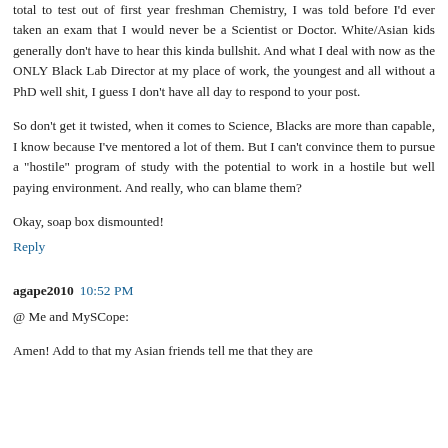total to test out of first year freshman Chemistry, I was told before I'd ever taken an exam that I would never be a Scientist or Doctor. White/Asian kids generally don't have to hear this kinda bullshit. And what I deal with now as the ONLY Black Lab Director at my place of work, the youngest and all without a PhD well shit, I guess I don't have all day to respond to your post.
So don't get it twisted, when it comes to Science, Blacks are more than capable, I know because I've mentored a lot of them. But I can't convince them to pursue a "hostile" program of study with the potential to work in a hostile but well paying environment. And really, who can blame them?
Okay, soap box dismounted!
Reply
agape2010  10:52 PM
@ Me and MySCope:
Amen! Add to that my Asian friends tell me that they are